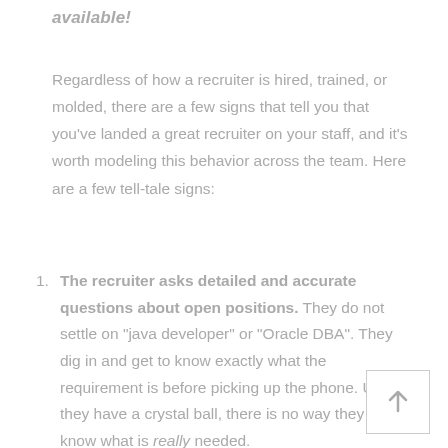available!
Regardless of how a recruiter is hired, trained, or molded, there are a few signs that tell you that you’ve landed a great recruiter on your staff, and it’s worth modeling this behavior across the team. Here are a few tell-tale signs:
The recruiter asks detailed and accurate questions about open positions. They do not settle on “java developer” or “Oracle DBA”. They dig in and get to know exactly what the requirement is before picking up the phone. Unless they have a crystal ball, there is no way they can know what is really needed.